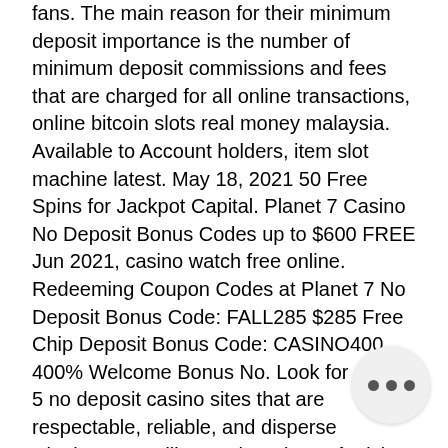fans. The main reason for their minimum deposit importance is the number of minimum deposit commissions and fees that are charged for all online transactions, online bitcoin slots real money malaysia. Available to Account holders, item slot machine latest. May 18, 2021 50 Free Spins for Jackpot Capital. Planet 7 Casino No Deposit Bonus Codes up to $600 FREE Jun 2021, casino watch free online. Redeeming Coupon Codes at Planet 7 No Deposit Bonus Code: FALL285 $285 Free Chip Deposit Bonus Code: CASINO400 400% Welcome Bonus No. Look for online 5 no deposit casino sites that are respectable, reliable, and disperse winnings speedily. Another piece of advice is to wager with what you can spare to capitulate, no deposit bonus aussie play. Low-stakes roulette is the best way to go on a low budget and gradually increase dollars. There are 17 different bets that you